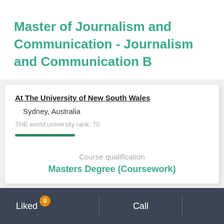Master of Journalism and Communication - Journalism and Communication B
At The University of New South Wales
Sydney, Australia
THE world university rank: 70
Course qualification
Masters Degree (Coursework)
Liked 0   Call